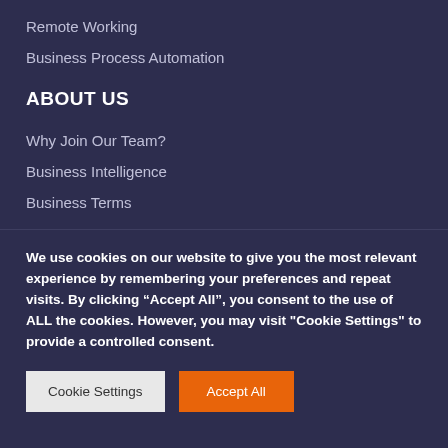Remote Working
Business Process Automation
ABOUT US
Why Join Our Team?
Business Intelligence
Business Terms
We use cookies on our website to give you the most relevant experience by remembering your preferences and repeat visits. By clicking “Accept All”, you consent to the use of ALL the cookies. However, you may visit "Cookie Settings" to provide a controlled consent.
Cookie Settings | Accept All